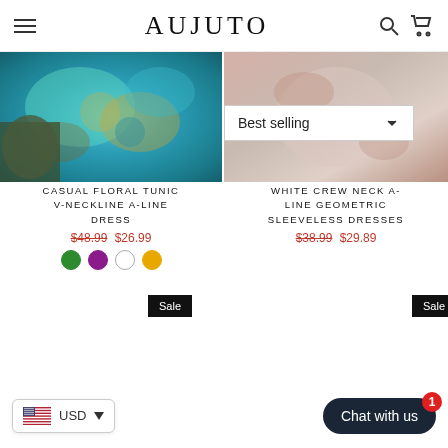AUJUTO
[Figure (photo): Casual floral tunic product photo with teal/gold pattern fabric]
[Figure (photo): White crew neck geometric dress product photo with muted tones]
Best selling
CASUAL FLORAL TUNIC V-NECKLINE A-LINE DRESS
$48.99  $26.99
WHITE CREW NECK A-LINE GEOMETRIC SLEEVELESS DRESSES
$38.99  $29.89
Sale
Sale
USD
Chat with us